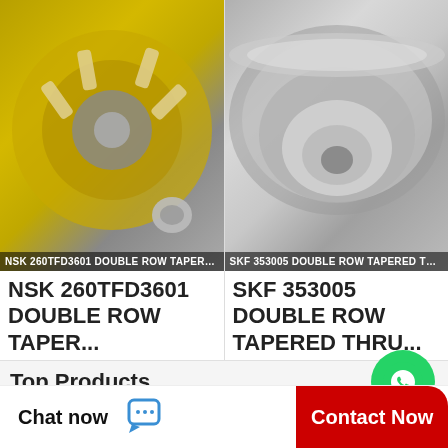[Figure (photo): NSK 260TFD3601 double row tapered thrust bearing, gold/silver colored bearing parts on white background]
NSK 260TFD3601 DOUBLE ROW TAPERED TH
NSK 260TFD3601 DOUBLE ROW TAPER...
[Figure (photo): SKF 353005 double row tapered thrust bearing, silver/chrome colored bearing on dark background]
SKF 353005 DOUBLE ROW TAPERED THRUST
SKF 353005 DOUBLE ROW TAPERED THRU...
Top Products
NTN A-JEL211-200D1 Insert Bearings Spherical OD
LINK BELT KLFXS216K13 Flange Block Bearings
LINK BELT KLFXS216K13 Flange Block Bearings
[Figure (other): WhatsApp Online green circle icon with phone handset, with text WhatsApp Online]
Chat now
Contact Now